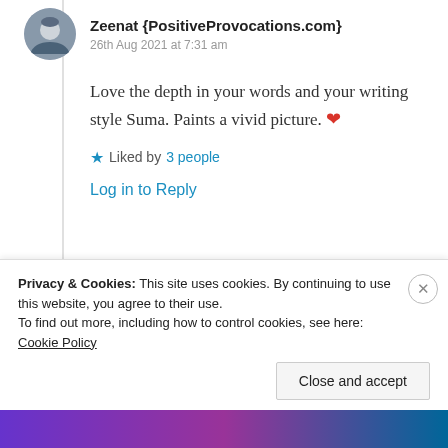Zeenat {PositiveProvocations.com}
26th Aug 2021 at 7:31 am
Love the depth in your words and your writing style Suma. Paints a vivid picture. ❤
★ Liked by 3 people
Log in to Reply
Suma Reddy
Privacy & Cookies: This site uses cookies. By continuing to use this website, you agree to their use. To find out more, including how to control cookies, see here: Cookie Policy
Close and accept